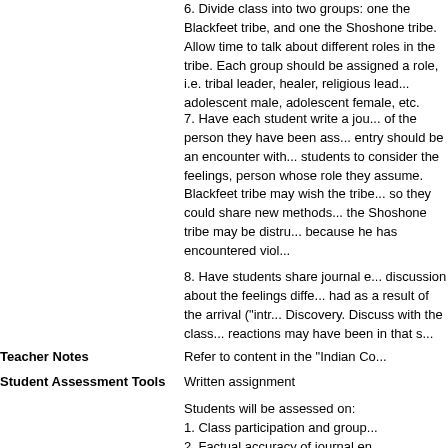6.  Divide class into two groups: one the Blackfeet tribe, and one the Shoshone tribe.  Allow time to talk about different roles in the tribe.  Each group should be assigned a role, i.e. tribal leader, healer, religious leader, adolescent male, adolescent female, etc.
7.  Have each student write a journal entry of the person they have been assigned.  The entry should be an encounter with...  Ask students to consider the feelings, thoughts of person whose role they assume.  Someone in the Blackfeet tribe may wish the tribe could trade so they could share new methods of survival; the Shoshone tribe may be distrustful because he has encountered viol...
8.  Have students share journal e... discussion about the feelings diffe... had as a result of the arrival ("intr... Discovery.  Discuss with the class... reactions may have been in that s...
Teacher Notes
Refer to content in the "Indian Co...
Student Assessment Tools
Written assignment
Students will be assessed on:
1.  Class participation and group...
2.  Factual accuracy of journal en...
3.  Journal entry components, i.e....